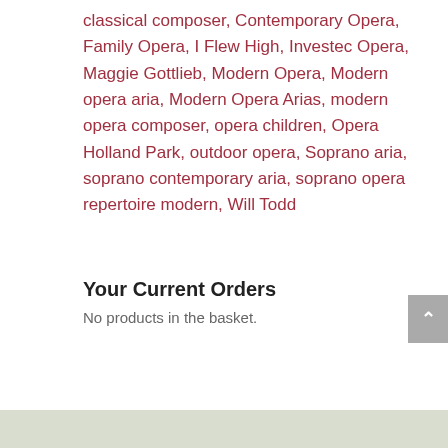classical composer, Contemporary Opera, Family Opera, I Flew High, Investec Opera, Maggie Gottlieb, Modern Opera, Modern opera aria, Modern Opera Arias, modern opera composer, opera children, Opera Holland Park, outdoor opera, Soprano aria, soprano contemporary aria, soprano opera repertoire modern, Will Todd
Your Current Orders
No products in the basket.